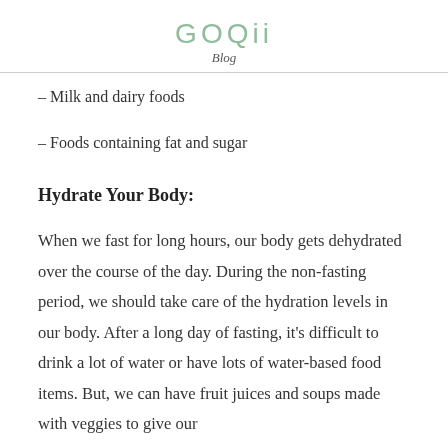GOQii
Blog
– Milk and dairy foods
– Foods containing fat and sugar
Hydrate Your Body:
When we fast for long hours, our body gets dehydrated over the course of the day. During the non-fasting period, we should take care of the hydration levels in our body. After a long day of fasting, it's difficult to drink a lot of water or have lots of water-based food items. But, we can have fruit juices and soups made with veggies to give our